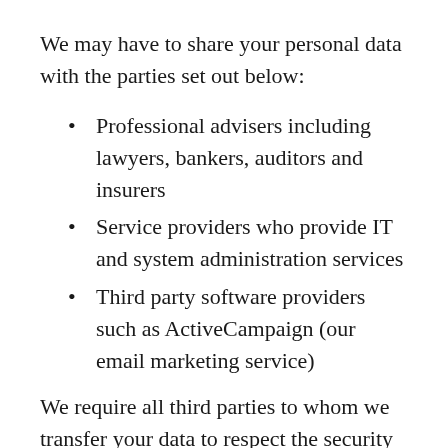We may have to share your personal data with the parties set out below:
Professional advisers including lawyers, bankers, auditors and insurers
Service providers who provide IT and system administration services
Third party software providers such as ActiveCampaign (our email marketing service)
We require all third parties to whom we transfer your data to respect the security of your personal data and to treat it in accordance with the law. We only allow such